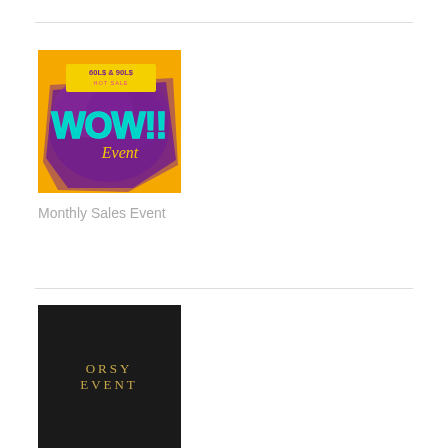[Figure (illustration): Colorful event promotional graphic with orange/yellow background, purple splash shape, cyan/teal 'WOW!!' text, gold 'Event' script text, and yellow label reading '60LS & 90LS HOT SALE']
Monthly Sales Event
[Figure (logo): Dark/black background with gold serif text reading 'ORSY EVENT']